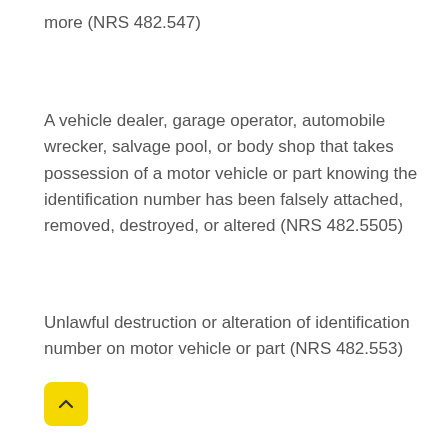more (NRS 482.547)
A vehicle dealer, garage operator, automobile wrecker, salvage pool, or body shop that takes possession of a motor vehicle or part knowing the identification number has been falsely attached, removed, destroyed, or altered (NRS 482.5505)
Unlawful destruction or alteration of identification number on motor vehicle or part (NRS 482.553)